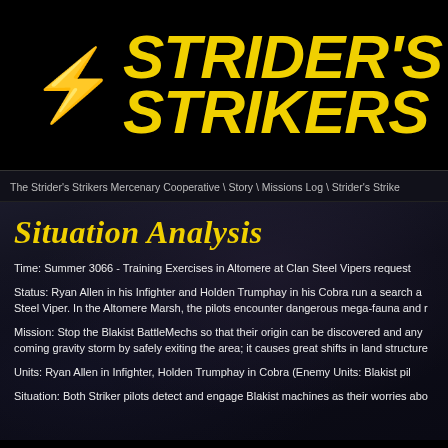[Figure (logo): Strider's Strikers logo with yellow futuristic styled text and lightning bolt symbol on black background]
The Strider's Strikers Mercenary Cooperative \ Story \ Missions Log \ Strider's Strike
Situation Analysis
Time: Summer 3066 - Training Exercises in Altomere at Clan Steel Vipers request
Status: Ryan Allen in his Infighter and Holden Trumphay in his Cobra run a search a... Steel Viper. In the Altomere Marsh, the pilots encounter dangerous mega-fauna and r...
Mission: Stop the Blakist BattleMechs so that their origin can be discovered and any... coming gravity storm by safely exiting the area; it causes great shifts in land structure...
Units: Ryan Allen in Infighter, Holden Trumphay in Cobra (Enemy Units: Blakist pil...
Situation: Both Striker pilots detect and engage Blakist machines as their worries abo...